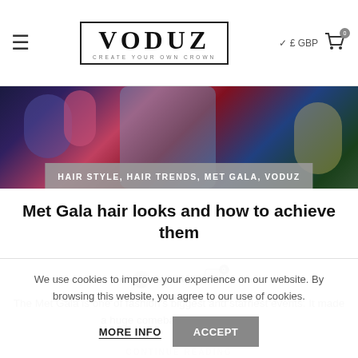VODUZ — CREATE YOUR OWN CROWN | £ GBP | Cart 0
[Figure (photo): Hero image showing colorful Met Gala fashion scene with category banner overlay reading: HAIR STYLE, HAIR TRENDS, MET GALA, VODUZ]
Met Gala hair looks and how to achieve them
VODUZ [with avatar and comment icon with badge 0]
The Met Gala is one of fashion's biggest and starriest events. It made a huge comeback after being c...
CONTINUE READING
[Figure (photo): Partial view of second article thumbnail showing pink hair, with number 15 overlay]
We use cookies to improve your experience on our website. By browsing this website, you agree to our use of cookies.
MORE INFO | ACCEPT